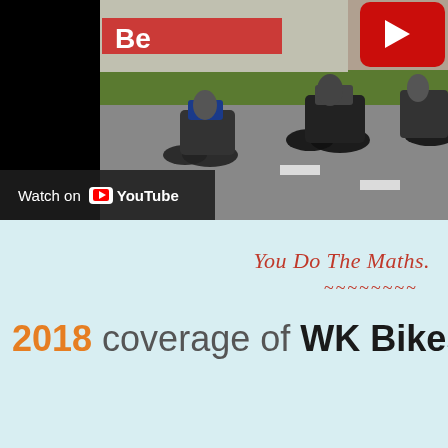[Figure (screenshot): YouTube embedded video thumbnail showing motorcycles on a race track/road. Partially cropped with black bar on left. YouTube play button visible top right. 'Watch on YouTube' overlay badge at bottom left of video frame.]
You Do The Maths.
~~~~~~~~
2018 coverage of WK Bikes CF M